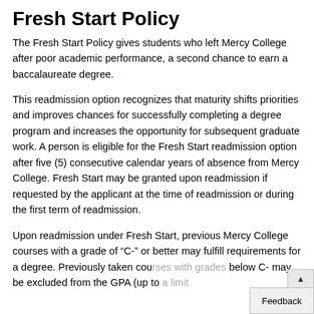Fresh Start Policy
The Fresh Start Policy gives students who left Mercy College after poor academic performance, a second chance to earn a baccalaureate degree.
This readmission option recognizes that maturity shifts priorities and improves chances for successfully completing a degree program and increases the opportunity for subsequent graduate work. A person is eligible for the Fresh Start readmission option after five (5) consecutive calendar years of absence from Mercy College. Fresh Start may be granted upon readmission if requested by the applicant at the time of readmission or during the first term of readmission.
Upon readmission under Fresh Start, previous Mercy College courses with a grade of “C-” or better may fulfill requirements for a degree. Previously taken cou[rses with grades] below C- may be excluded from the GPA (up to [a limit])